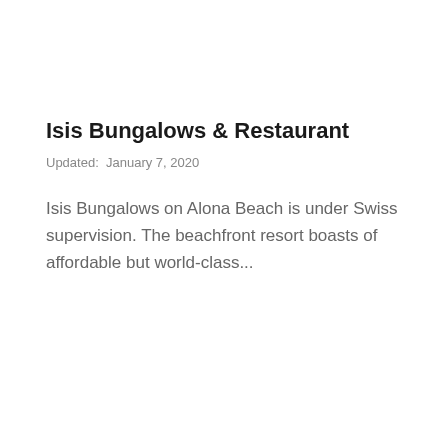Isis Bungalows & Restaurant
Updated:  January 7, 2020
Isis Bungalows on Alona Beach is under Swiss supervision. The beachfront resort boasts of affordable but world-class…